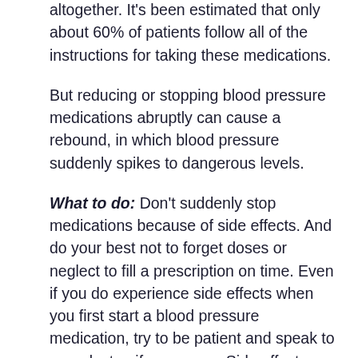altogether. It's been estimated that only about 60% of patients follow all of the instructions for taking these medications.
But reducing or stopping blood pressure medications abruptly can cause a rebound, in which blood pressure suddenly spikes to dangerous levels.
What to do: Don't suddenly stop medications because of side effects. And do your best not to forget doses or neglect to fill a prescription on time. Even if you do experience side effects when you first start a blood pressure medication, try to be patient and speak to your doctor, if necessary. Side effects typically go away on their own within a few weeks as your body adjusts to the lower blood pressure.
Important: If a side effect is severe (fainting, for